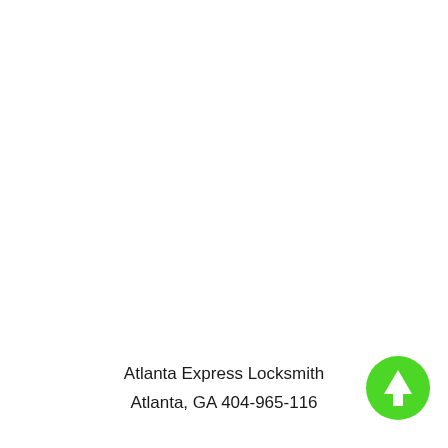[Figure (illustration): Green circular button with white upward arrow icon, positioned in the bottom-right corner]
Atlanta Express Locksmith
Atlanta, GA 404-965-116